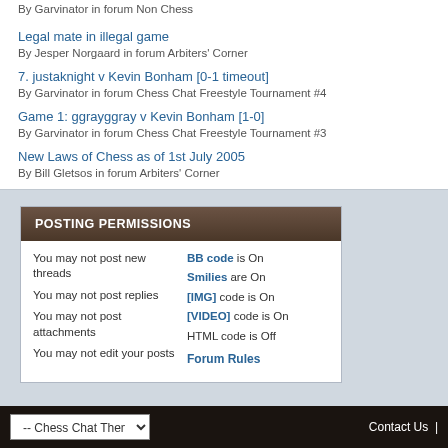Legal mate in illegal game — By Jesper Norgaard in forum Arbiters' Corner
7. justaknight v Kevin Bonham [0-1 timeout] — By Garvinator in forum Chess Chat Freestyle Tournament #4
Game 1: ggrayggray v Kevin Bonham [1-0] — By Garvinator in forum Chess Chat Freestyle Tournament #3
New Laws of Chess as of 1st July 2005 — By Bill Gletsos in forum Arbiters' Corner
POSTING PERMISSIONS
| Permissions | Settings |
| --- | --- |
| You may not post new threads | BB code is On |
| You may not post replies | Smilies are On |
| You may not post attachments | [IMG] code is On |
| You may not edit your posts | [VIDEO] code is On |
|  | HTML code is Off |
|  | Forum Rules |
-- Chess Chat Theme    Contact Us